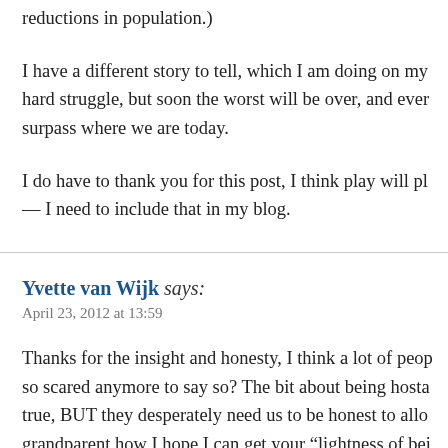reductions in population.)
I have a different story to tell, which I am doing on my hard struggle, but soon the worst will be over, and ever surpass where we are today.
I do have to thank you for this post, I think play will pl — I need to include that in my blog.
Yvette van Wijk says:
April 23, 2012 at 13:59
Thanks for the insight and honesty, I think a lot of peop so scared anymore to say so? The bit about being hosta true, BUT they desperately need us to be honest to allo grandparent how I hope I can get your “lightness of bei communicate honestly, but happily, with them. I love th the bits on my website about the swallows that live wit